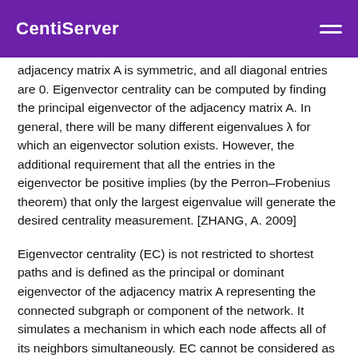CentiServer
adjacency matrix A is symmetric, and all diagonal entries are 0. Eigenvector centrality can be computed by finding the principal eigenvector of the adjacency matrix A. In general, there will be many different eigenvalues λ for which an eigenvector solution exists. However, the additional requirement that all the entries in the eigenvector be positive implies (by the Perron–Frobenius theorem) that only the largest eigenvalue will generate the desired centrality measurement. [ZHANG, A. 2009]
Eigenvector centrality (EC) is not restricted to shortest paths and is defined as the principal or dominant eigenvector of the adjacency matrix A representing the connected subgraph or component of the network. It simulates a mechanism in which each node affects all of its neighbors simultaneously. EC cannot be considered as a measure of centrality whereby nodes are ranked